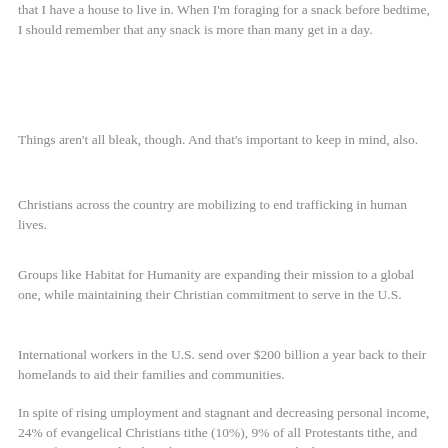that I have a house to live in. When I'm foraging for a snack before bedtime, I should remember that any snack is more than many get in a day.
Things aren't all bleak, though. And that's important to keep in mind, also.
Christians across the country are mobilizing to end trafficking in human lives.
Groups like Habitat for Humanity are expanding their mission to a global one, while maintaining their Christian commitment to serve in the U.S.
International workers in the U.S. send over $200 billion a year back to their homelands to aid their families and communities.
In spite of rising umployment and stagnant and decreasing personal income, 24% of evangelical Christians tithe (10%), 9% of all Protestants tithe, and 11% of Pentecostals tithe. This is an increase over the last ten years. Evangelical